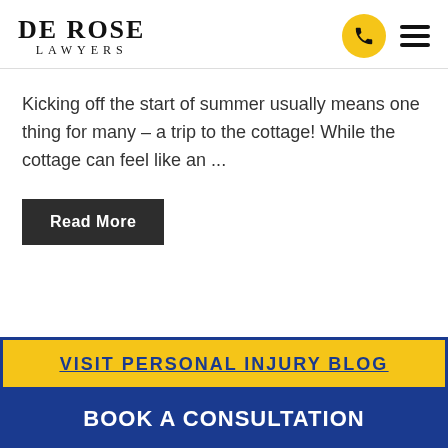[Figure (logo): De Rose Lawyers logo with serif text]
Kicking off the start of summer usually means one thing for many – a trip to the cottage! While the cottage can feel like an ...
Read More
VISIT PERSONAL INJURY BLOG
BOOK A CONSULTATION